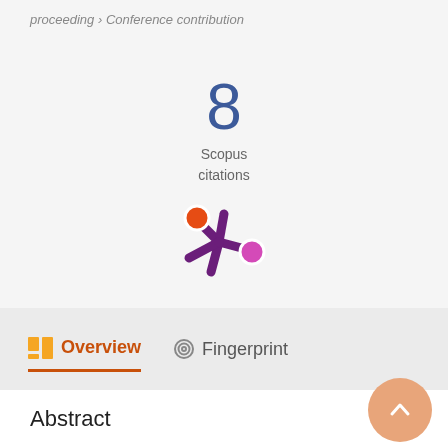proceeding › Conference contribution
8 Scopus citations
[Figure (logo): Altmetric logo — a colorful asterisk/snowflake shape with orange, purple, and magenta dots]
Overview   Fingerprint
Abstract